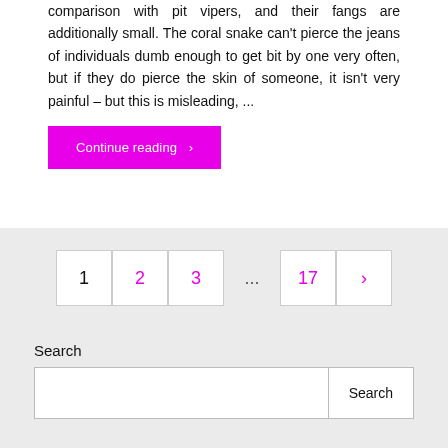comparison with pit vipers, and their fangs are additionally small. The coral snake can't pierce the jeans of individuals dumb enough to get bit by one very often, but if they do pierce the skin of someone, it isn't very painful – but this is misleading, ...
Continue reading ›
1  2  3  ...  17  ›
Search
Search